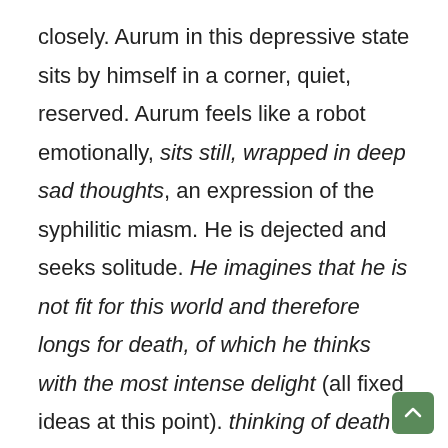closely. Aurum in this depressive state sits by himself in a corner, quiet, reserved. Aurum feels like a robot emotionally, sits still, wrapped in deep sad thoughts, an expression of the syphilitic miasm. He is dejected and seeks solitude. He imagines that he is not fit for this world and therefore longs for death, of which he thinks with the most intense delight (all fixed ideas at this point). thinking of death gives him intense joy, and there is a